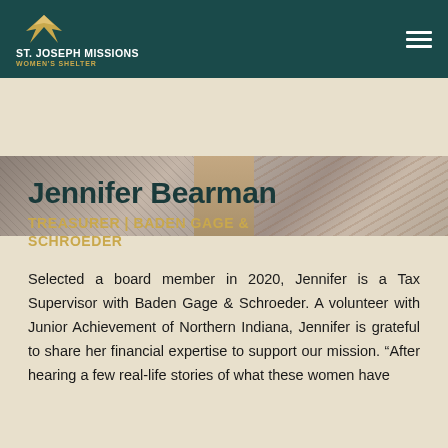ST. JOSEPH MISSIONS WOMEN'S SHELTER
[Figure (photo): Partial photo of a woman wearing patterned clothing, cropped at top of page]
Jennifer Bearman
TREASURER | BADEN GAGE & SCHROEDER
Selected a board member in 2020, Jennifer is a Tax Supervisor with Baden Gage & Schroeder. A volunteer with Junior Achievement of Northern Indiana, Jennifer is grateful to share her financial expertise to support our mission. “After hearing a few real-life stories of what these women have